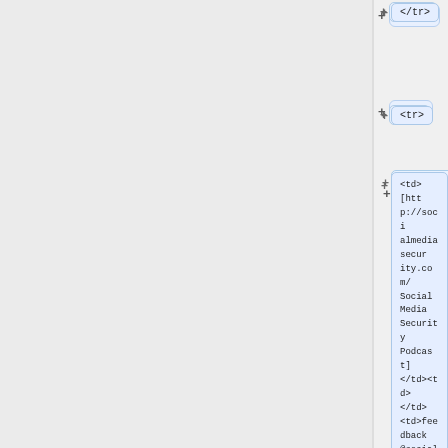</tr>
<tr>
<td>[http://socialmediasecurity.com/ Social Media Security Podcast]</td><td></td><td>feedback@socialmediasecurity.com</td>
</tr>
<tr>